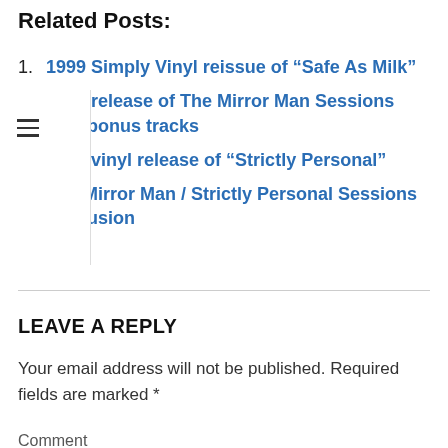Related Posts:
1999 Simply Vinyl reissue of “Safe As Milk”
1999 release of The Mirror Man Sessions with bonus tracks
1999 vinyl release of “Strictly Personal”
The Mirror Man / Strictly Personal Sessions Confusion
LEAVE A REPLY
Your email address will not be published. Required fields are marked *
Comment